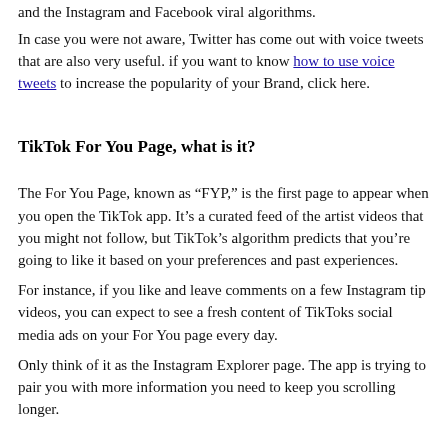and the Instagram and Facebook viral algorithms.
In case you were not aware, Twitter has come out with voice tweets that are also very useful. if you want to know how to use voice tweets to increase the popularity of your Brand, click here.
TikTok For You Page, what is it?
The For You Page, known as “FYP,” is the first page to appear when you open the TikTok app. It’s a curated feed of the artist videos that you might not follow, but TikTok’s algorithm predicts that you’re going to like it based on your preferences and past experiences.
For instance, if you like and leave comments on a few Instagram tip videos, you can expect to see a fresh content of TikToks social media ads on your For You page every day.
Only think of it as the Instagram Explorer page. The app is trying to pair you with more information you need to keep you scrolling longer.